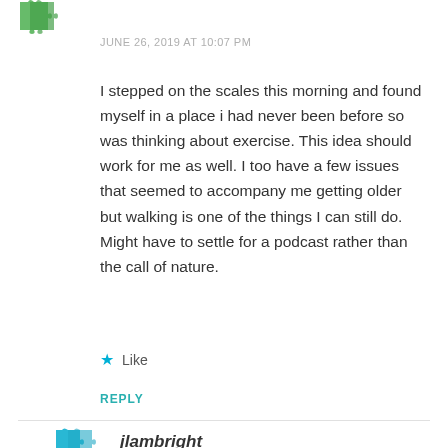[Figure (logo): Green puzzle piece avatar icon at top left]
JUNE 26, 2019 AT 10:07 PM
I stepped on the scales this morning and found myself in a place i had never been before so was thinking about exercise. This idea should work for me as well. I too have a few issues that seemed to accompany me getting older but walking is one of the things I can still do. Might have to settle for a podcast rather than the call of nature.
★ Like
REPLY
[Figure (logo): Light blue puzzle piece avatar icon at bottom left]
jlambright